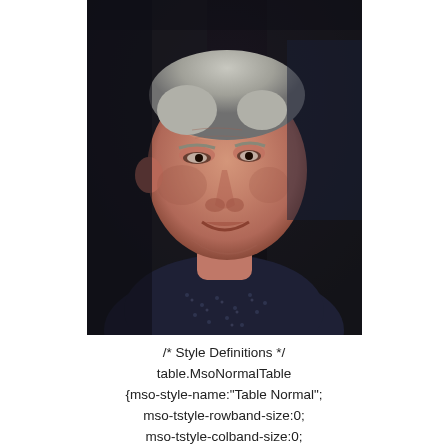[Figure (photo): Portrait photo of an elderly man with gray hair, wearing a dark patterned shirt, taken in close-up with slight smile, indoor setting]
/* Style Definitions */
table.MsoNormalTable
{mso-style-name:"Table Normal";
mso-tstyle-rowband-size:0;
mso-tstyle-colband-size:0;
mso-style-noshorwue: